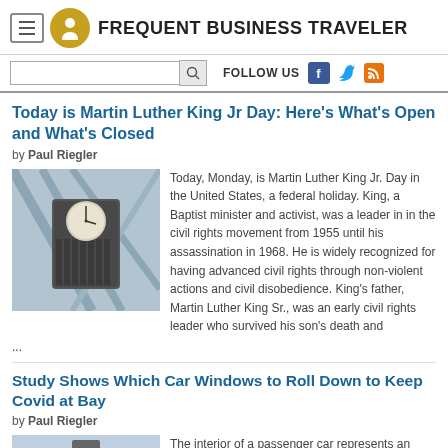FREQUENT BUSINESS TRAVELER
Today is Martin Luther King Jr Day: Here's What's Open and What's Closed
by Paul Riegler
[Figure (photo): A large decorative clock hanging in what appears to be an airport or transit terminal with structural beams in the background.]
Today, Monday, is Martin Luther King Jr. Day in the United States, a federal holiday. King, a Baptist minister and activist, was a leader in in the civil rights movement from 1955 until his assassination in 1968. He is widely recognized for having advanced civil rights through non-violent actions and civil disobedience. King's father, Martin Luther King Sr., was an early civil rights leader who survived his son's death and ...
Study Shows Which Car Windows to Roll Down to Keep Covid at Bay
by Paul Riegler
[Figure (photo): Interior view of a passenger car dashboard and windshield.]
The interior of a passenger car represents an elevated risk of coronavirus transmission and